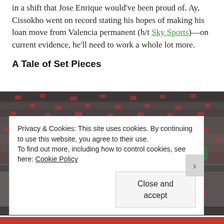in a shift that Jose Enrique would've been proud of. Ay, Cissokho went on record stating his hopes of making his loan move from Valencia permanent (h/t Sky Sports)—on current evidence, he'll need to work a whole lot more.
A Tale of Set Pieces
[Figure (photo): Football match at a stadium with a large crowd of fans in red Liverpool shirts filling the stands. A player in a red Liverpool jersey is visible in the lower foreground.]
Privacy & Cookies: This site uses cookies. By continuing to use this website, you agree to their use. To find out more, including how to control cookies, see here: Cookie Policy